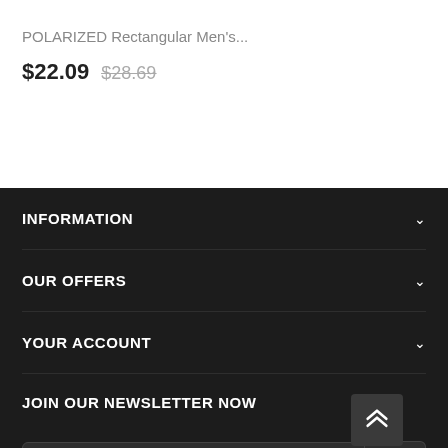POLARIZED Rectangular Men's...
$22.09  $28.69
INFORMATION
OUR OFFERS
YOUR ACCOUNT
JOIN OUR NEWSLETTER NOW
Your email address